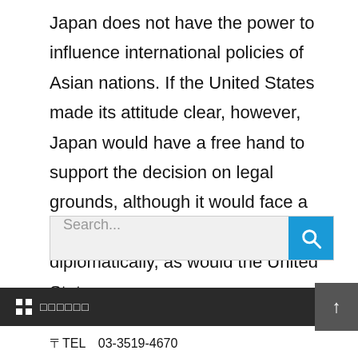Japan does not have the power to influence international policies of Asian nations. If the United States made its attitude clear, however, Japan would have a free hand to support the decision on legal grounds, although it would face a number of problems, politically and diplomatically, as would the United States.
[Figure (screenshot): Search bar with text input area showing placeholder 'Search...' and a blue search button with magnifying glass icon]
□□□□□□
〒TEL　03-3519-4670